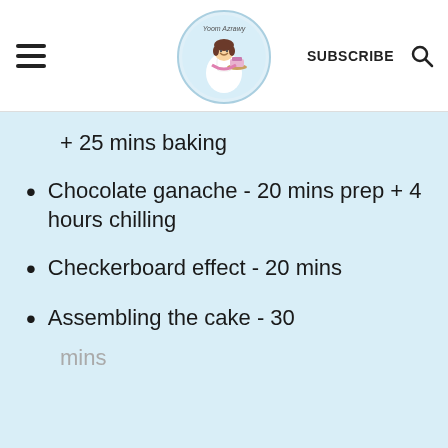SUBSCRIBE [search icon]
+ 25 mins baking
Chocolate ganache - 20 mins prep + 4 hours chilling
Checkerboard effect - 20 mins
Assembling the cake - 30 mins